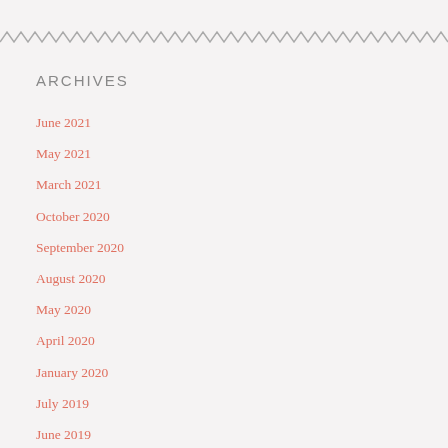[Figure (other): Zigzag decorative border line across the top of the page]
ARCHIVES
June 2021
May 2021
March 2021
October 2020
September 2020
August 2020
May 2020
April 2020
January 2020
July 2019
June 2019
July 2018